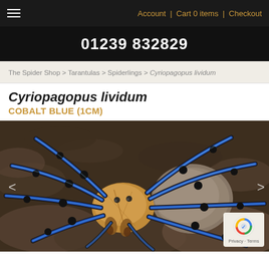Account | Cart 0 items | Checkout
01239 832829
The Spider Shop > Tarantulas > Spiderlings > Cyriopagopus lividum
Cyriopagopus lividum
COBALT BLUE (1CM)
[Figure (photo): Close-up photograph of a Cobalt Blue tarantula (Cyriopagopus lividum) showing iridescent blue legs with black joints, tan/orange carapace, and large abdomen, photographed on rocky substrate]